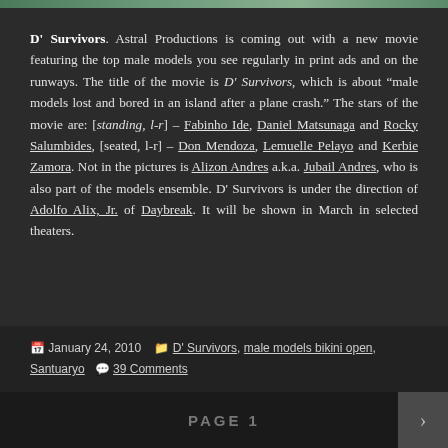[Figure (photo): Top portion of a photo showing male models, cropped at top of page]
D' Survivors. Astral Productions is coming out with a new movie featuring the top male models you see regularly in print ads and on the runways. The title of the movie is D' Survivors, which is about "male models lost and bored in an island after a plane crash." The stars of the movie are: [standing, l-r] – Fabinho Ide, Daniel Matsunaga and Rocky Salumbides, [seated, l-r] – Don Mendoza, Lemuelle Pelayo and Kerbie Zamora. Not in the pictures is Alizon Andres a.k.a. Jubail Andres, who is also part of the models ensemble. D' Survivors is under the direction of Adolfo Alix, Jr. of Daybreak. It will be shown in March in selected theaters.
January 24, 2010   D' Survivors, male models bikini open, Santuaryo   39 Comments
PAGE 1